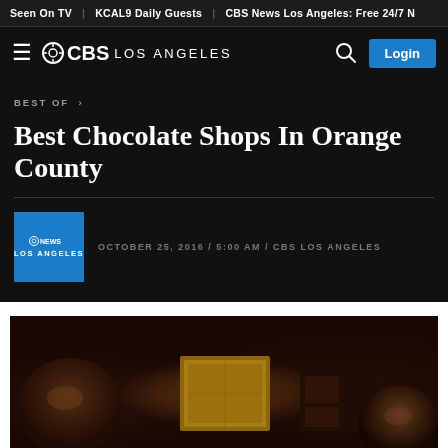Seen On TV | KCAL9 Daily Guests | CBS News Los Angeles: Free 24/7 N
[Figure (logo): CBS Los Angeles navigation bar with hamburger menu, CBS logo, search icon, and Login button]
BEST OF >
Best Chocolate Shops In Orange County
OCTOBER 25, 2016 / 5:00 AM / CBS LOS ANGELES
[Figure (logo): CBS News Los Angeles blue square logo thumbnail]
[Figure (photo): Close-up photo of assorted dark and milk chocolates in a box, including round truffles and a gold-wrapped square chocolate piece]